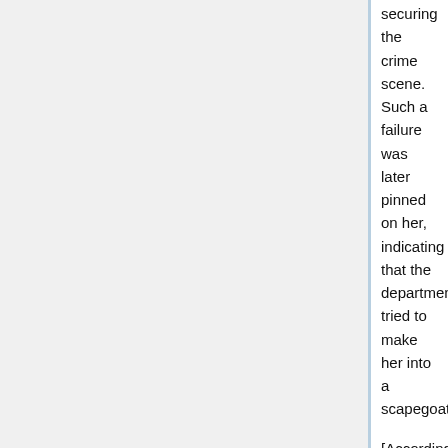securing the crime scene. Such a failure was later pinned on her, indicating that the department tried to make her into a scapegoat.]
[According to an FBI agent who advised the Boulder police, the high-level command staff "inhibited the officers and the detectives from doing the job that they knew they needed to do" by separating the Ramsey parents before questioning them]
[Threats against Linda Arndt, Steve Thomas, and Bob Whitson]
[Insistence on a PDI theory: groupthink by Koby, Eller, and Thomas; misrepresentation of the CBI handwriting results; no follow-up on John's shirt fibers purportedly being found in JonBenet's underwear]